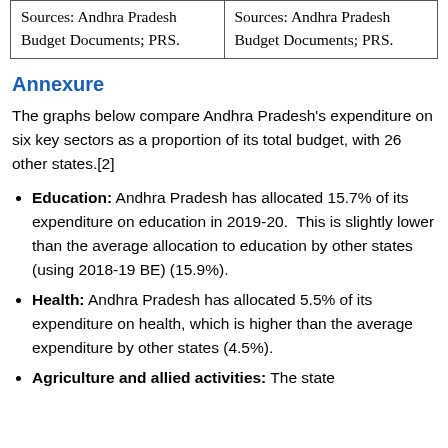| Sources: Andhra Pradesh Budget Documents; PRS. | Sources: Andhra Pradesh Budget Documents; PRS. |
Annexure
The graphs below compare Andhra Pradesh's expenditure on six key sectors as a proportion of its total budget, with 26 other states.[2]
Education: Andhra Pradesh has allocated 15.7% of its expenditure on education in 2019-20. This is slightly lower than the average allocation to education by other states (using 2018-19 BE) (15.9%).
Health: Andhra Pradesh has allocated 5.5% of its expenditure on health, which is higher than the average expenditure by other states (4.5%).
Agriculture and allied activities: The state